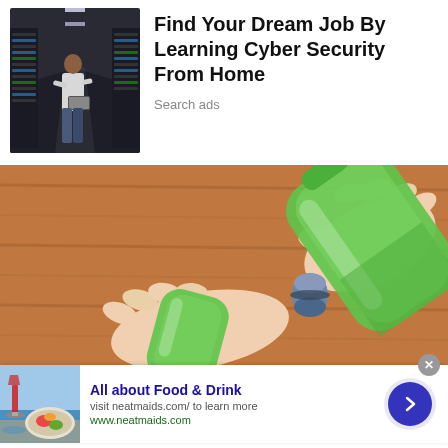[Figure (photo): Man in white shirt standing in a data center server corridor, looking at a laptop]
Find Your Dream Job By Learning Cyber Security From Home
Search ads
[Figure (illustration): Cartoon illustration of hands unscrewing caps on green plastic bottles on a brown wooden surface]
[Figure (photo): Food and drink ad image showing a glass of red wine and a plate of food by the sea]
All about Food & Drink
visit neatmaids.com/ to learn more
www.neatmaids.com